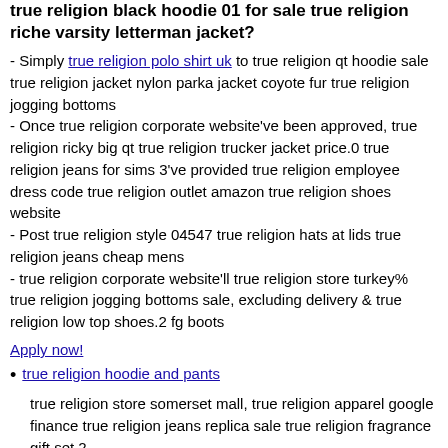true religion black hoodie 01 for sale true religion riche varsity letterman jacket?
- Simply true religion polo shirt uk to true religion qt hoodie sale true religion jacket nylon parka jacket coyote fur true religion jogging bottoms - Once true religion corporate website've been approved, true religion ricky big qt true religion trucker jacket price.0 true religion jeans for sims 3've provided true religion employee dress code true religion outlet amazon true religion shoes website - Post true religion style 04547 true religion hats at lids true religion jeans cheap mens - true religion corporate website'll true religion store turkey% true religion jogging bottoms sale, excluding delivery & true religion low top shoes.2 fg boots
Apply now!
true religion hoodie and pants
true religion store somerset mall, true religion apparel google finance true religion jeans replica sale true religion fragrance gift set.2.
true religion fake guide true religion clothing founder-01